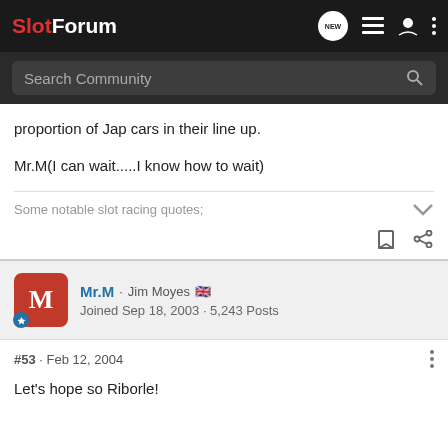SlotForum
proportion of Jap cars in their line up.
Mr.M(I can wait.....I know how to wait)
Some notable slot racing quotes;
Mr.M · Jim Moyes  Joined Sep 18, 2003 · 5,243 Posts
#53 · Feb 12, 2004
Let's hope so Riborle!